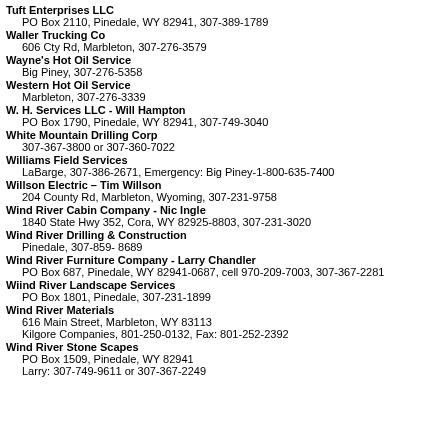Tuft Enterprises LLC
  PO Box 2110, Pinedale, WY 82941, 307-389-1789
Waller Trucking Co
  606 Cty Rd, Marbleton, 307-276-3579
Wayne's Hot Oil Service
  Big Piney, 307-276-5358
Western Hot Oil Service
  Marbleton, 307-276-3339
W. H. Services LLC - Will Hampton
  PO Box 1790, Pinedale, WY 82941, 307-749-3040
White Mountain Drilling Corp
  307-367-3800 or 307-360-7022
Williams Field Services
  LaBarge, 307-386-2671, Emergency: Big Piney-1-800-635-7400
Willson Electric – Tim Willson
  204 County Rd, Marbleton, Wyoming, 307-231-9758
Wind River Cabin Company - Nic Ingle
  1840 State Hwy 352, Cora, WY 82925-8803, 307-231-3020
Wind River Drilling & Construction
  Pinedale, 307-859- 8689
Wind River Furniture Company - Larry Chandler
  PO Box 687, Pinedale, WY 82941-0687, cell 970-209-7003, 307-367-2281
Wiind River Landscape Services
  PO Box 1801, Pinedale, 307-231-1899
Wind River Materials
  616 Main Street, Marbleton, WY 83113
  Kilgore Companies, 801-250-0132, Fax: 801-252-2392
Wind River Stone Scapes
  PO Box 1509, Pinedale, WY 82941
  Larry: 307-749-9611 or 307-367-2249